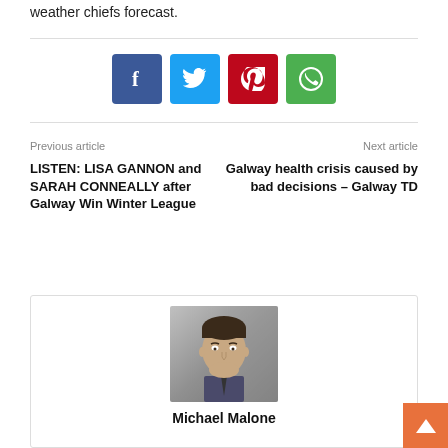weather chiefs forecast.
[Figure (other): Social sharing buttons: Facebook (blue), Twitter (cyan), Pinterest (red), WhatsApp (green)]
Previous article
Next article
LISTEN: LISA GANNON and SARAH CONNEALLY after Galway Win Winter League
Galway health crisis caused by bad decisions – Galway TD
[Figure (photo): Black and white headshot photo of Michael Malone, a young male person wearing a suit and tie]
Michael Malone